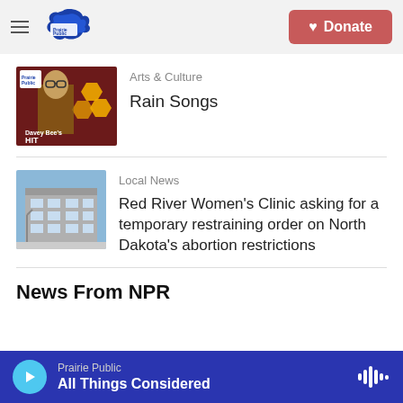Prairie Public — Donate
[Figure (photo): Davey Bee's Hit Parade album artwork with man in glasses and yellow hexagons on dark red background]
Arts & Culture
Rain Songs
[Figure (photo): Exterior of a building with large windows — Red River Women's Clinic location]
Local News
Red River Women's Clinic asking for a temporary restraining order on North Dakota's abortion restrictions
News From NPR
Prairie Public — All Things Considered